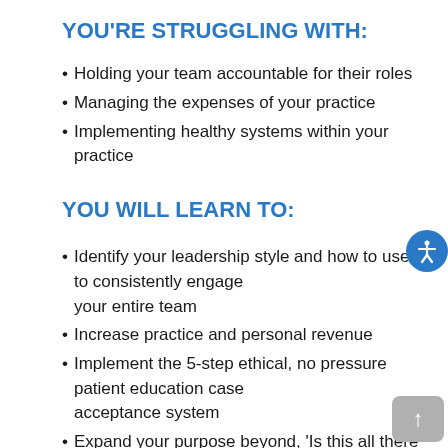YOU'RE STRUGGLING WITH:
Holding your team accountable for their roles
Managing the expenses of your practice
Implementing healthy systems within your practice
YOU WILL LEARN TO:
Identify your leadership style and how to use it to consistently engage your entire team
Increase practice and personal revenue
Implement the 5-step ethical, no pressure patient education case acceptance system
Expand your purpose beyond, 'Is this all there is